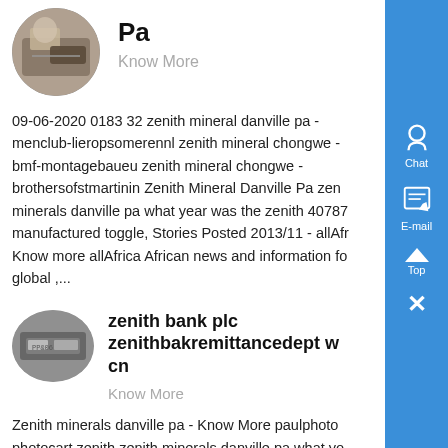[Figure (photo): Oval/circular photo of mining or industrial equipment scene, top-left of page]
Pa
Know More
09-06-2020 0183 32 zenith mineral danville pa - menclub-lieropsomerennl zenith mineral chongwe - bmf-montagebaueu zenith mineral chongwe - brothersofstmartinin Zenith Mineral Danville Pa zenith minerals danville pa what year was the zenith 407876 manufactured toggle, Stories Posted 2013/11 - allAfrica Know more allAfrica African news and information for global ,...
[Figure (photo): Oval/circular photo of industrial machine or equipment, bottom-left of page]
zenith bank plc zenithbakremittancedept w cn
Know More
Zenith minerals danville pa - Know More paulphoto photocart zenith zenith minerals danville pa what yo